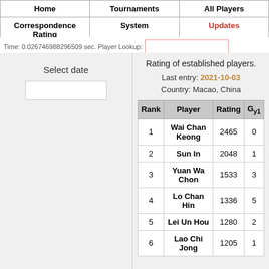Home | Tournaments | All Players
Correspondence Rating | System | Updates
Time: 0.026746988296509 sec. Player Lookup:
Select date
Rating of established players.
Last entry: 2021-10-03
Country: Macao, China
| Rank | Player | Rating | Gy1 |
| --- | --- | --- | --- |
| 1 | Wai Chan Keong | 2465 | 0 |
| 2 | Sun In | 2048 | 1 |
| 3 | Yuan Wa Chon | 1533 | 3 |
| 4 | Lo Chan Hin | 1336 | 5 |
| 5 | Lei Un Hou | 1280 | 2 |
| 6 | Lao Chi Jong | 1205 | 1 |